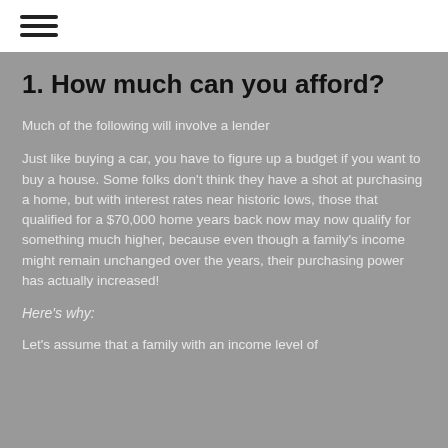[Figure (other): Hamburger menu icon with three horizontal lines]
1. How much can you afford?
Much of the following will involve a lender
Just like buying a car, you have to figure up a budget if you want to buy a house. Some folks don't think they have a shot at purchasing a home, but with interest rates near historic lows, those that qualified for a $70,000 home years back now may now qualify for something much higher, because even though a family's income might remain unchanged over the years, their purchasing power has actually increased!
Here's why:
Let's assume that a family with an income level of